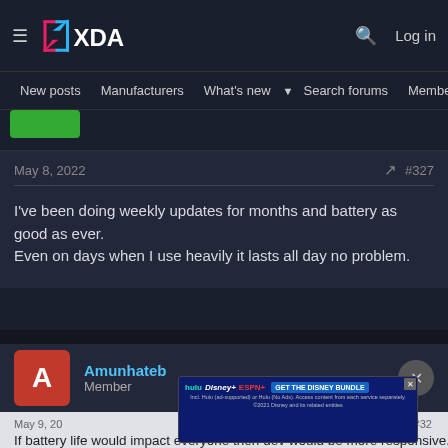XDA Developers — New posts | Manufacturers | What's new | Search forums | Members | Log in
May 8, 2022 #327
I've been doing weekly updates for months and battery as good as ever. Even on days when I use heavily it lasts all day no problem.
Amunhateb
Member
[Figure (screenshot): Advertisement banner: Hulu, Disney+, ESPN+ — GET THE DISNEY BUNDLE. Incl. Hulu (ad-supported) or Hulu (No Ads). Access content from each service separately. ©2021 Disney and its related entities]
If battery life would impact everyone then dev would be more responsive.